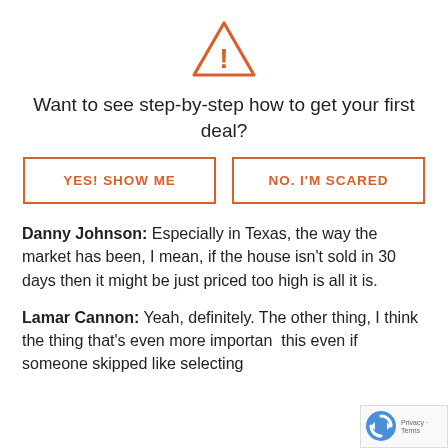[Figure (illustration): Orange triangle warning/alert icon with exclamation mark]
Want to see step-by-step how to get your first deal?
YES! SHOW ME | NO. I'M SCARED (two buttons)
Danny Johnson: Especially in Texas, the way the market has been, I mean, if the house isn't sold in 30 days then it might be just priced too high is all it is.
Lamar Cannon: Yeah, definitely. The other thing, I think the thing that's even more importan[t]... this even if someone skipped like selecting[...]